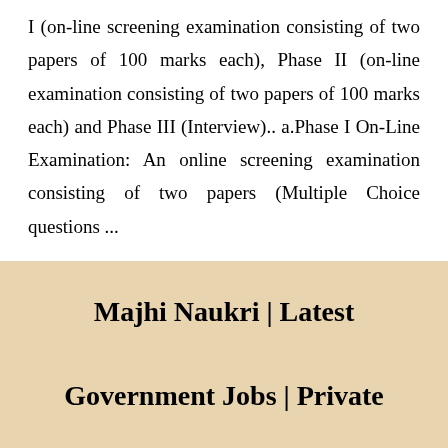I (on-line screening examination consisting of two papers of 100 marks each), Phase II (on-line examination consisting of two papers of 100 marks each) and Phase III (Interview).. a.Phase I On-Line Examination: An online screening examination consisting of two papers (Multiple Choice questions ...
Majhi Naukri | Latest Government Jobs | Private Jobs In